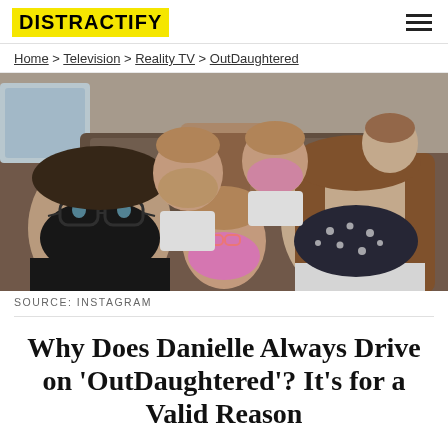DISTRACTIFY
Home > Television > Reality TV > OutDaughtered
[Figure (photo): Family selfie inside a van: a man on the left wearing glasses and a black face mask, a woman on the right with long hair and a dark patterned face mask, and multiple young girls in the middle and back wearing face masks of various colors.]
SOURCE: INSTAGRAM
Why Does Danielle Always Drive on 'OutDaughtered'? It's for a Valid Reason